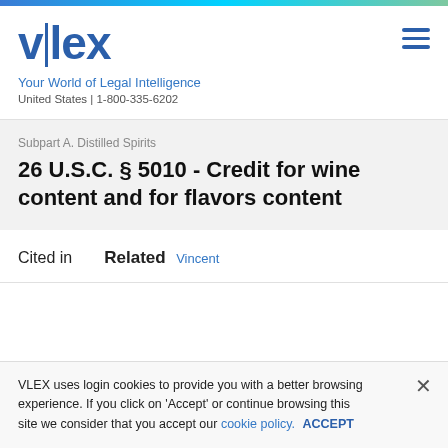[Figure (logo): vlex logo with vertical bar between v and lex, in blue]
Your World of Legal Intelligence
United States | 1-800-335-6202
Subpart A. Distilled Spirits
26 U.S.C. § 5010 - Credit for wine content and for flavors content
Cited in   Related   Vincent
VLEX uses login cookies to provide you with a better browsing experience. If you click on 'Accept' or continue browsing this site we consider that you accept our cookie policy. ACCEPT